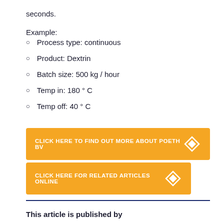seconds.
Example:
Process type: continuous
Product: Dextrin
Batch size: 500 kg / hour
Temp in: 180 ° C
Temp off: 40 ° C
CLICK HERE TO FIND OUT MORE ABOUT POETH BV
CLICK HERE FOR RELATED ARTICLES ONLINE
This article is published by